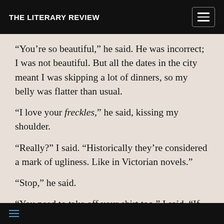THE LITERARY REVIEW
“You’re so beautiful,” he said. He was incorrect; I was not beautiful. But all the dates in the city meant I was skipping a lot of dinners, so my belly was flatter than usual.
“I love your freckles,” he said, kissing my shoulder.
“Really?” I said. “Historically they’re considered a mark of ugliness. Like in Victorian novels.”
“Stop,” he said.
“You need to take off your shirt too,” I said. “If I’m going to lie here like this.”